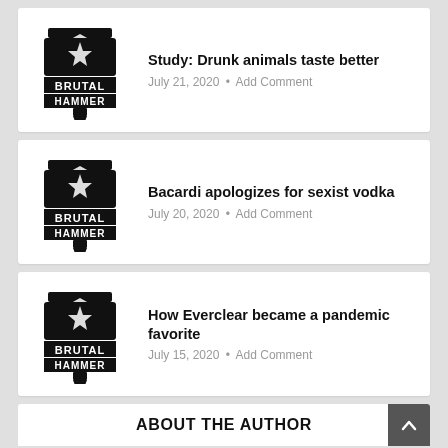Study: Drunk animals taste better — July 21, 2020 • Add Comment
Bacardi apologizes for sexist vodka — July 20, 2020 • Add Comment
How Everclear became a pandemic favorite — July 15, 2020 • Add Comment
ABOUT THE AUTHOR